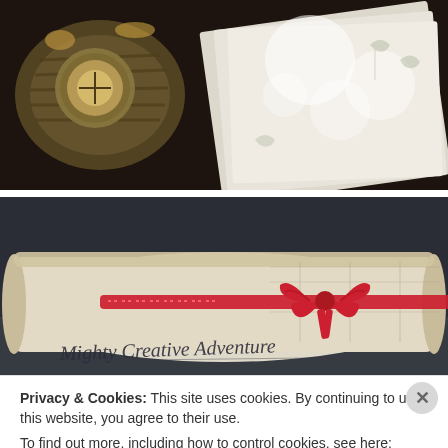[Figure (photo): Top photo showing a vintage compass in a basket and papers/documents with decorative botanical prints on a dark wooden surface, with bright light bokeh effect]
[Figure (photo): Bottom photo showing a rolled scroll of papers tied with a red ribbon bow, with cursive text 'Mighty Creative Adventure' written on it, placed on a dark surface outdoors]
Privacy & Cookies: This site uses cookies. By continuing to use this website, you agree to their use.
To find out more, including how to control cookies, see here: Cookie Policy
Close and accept